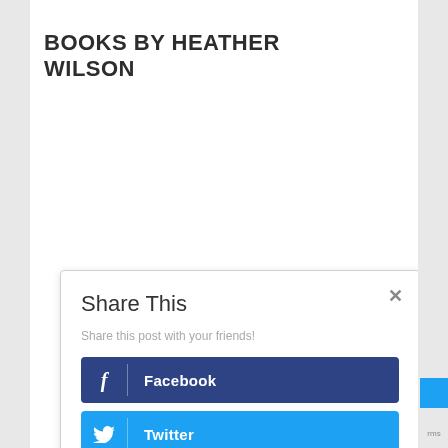BOOKS BY HEATHER WILSON
Share This
Share this post with your friends!
f  Facebook
Twitter
Pinterest
in  Linkedin